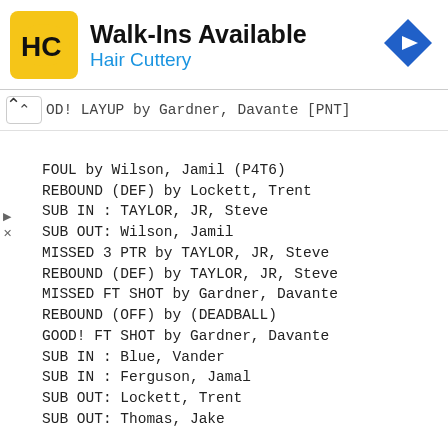[Figure (logo): Hair Cuttery advertisement banner with HC logo, Walk-Ins Available text, and navigation arrow icon]
OD! LAYUP by Gardner, Davante [PNT]
FOUL by Wilson, Jamil (P4T6)
REBOUND (DEF) by Lockett, Trent
SUB IN : TAYLOR, JR, Steve
SUB OUT: Wilson, Jamil
MISSED 3 PTR by TAYLOR, JR, Steve
REBOUND (DEF) by TAYLOR, JR, Steve
MISSED FT SHOT by Gardner, Davante
REBOUND (OFF) by (DEADBALL)
GOOD! FT SHOT by Gardner, Davante
SUB IN : Blue, Vander
SUB IN : Ferguson, Jamal
SUB OUT: Lockett, Trent
SUB OUT: Thomas, Jake